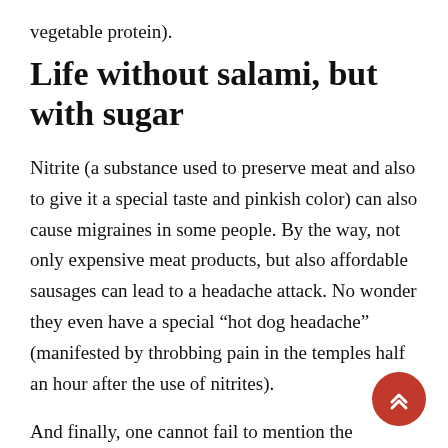vegetable protein).
Life without salami, but with sugar
Nitrite (a substance used to preserve meat and also to give it a special taste and pinkish color) can also cause migraines in some people. By the way, not only expensive meat products, but also affordable sausages can lead to a headache attack. No wonder they even have a special “hot dog headache” (manifested by throbbing pain in the temples half an hour after the use of nitrites).
And finally, one cannot fail to mention the artificial sugar substitute – aspartame, which can also cause headaches.Therefore, it is safer to add some real sugar to tea, and also to be careful when buying gum, fruit ju low-calorie ice cream and desserts that include sugar